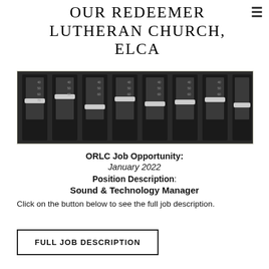OUR REDEEMER LUTHERAN CHURCH, ELCA
[Figure (photo): Black and white photo of an audio mixing board/soundboard faders and sliders from above]
ORLC Job Opportunity:
January 2022
Position Description: Sound & Technology Manager
Click on the button below to see the full job description.
FULL JOB DESCRIPTION